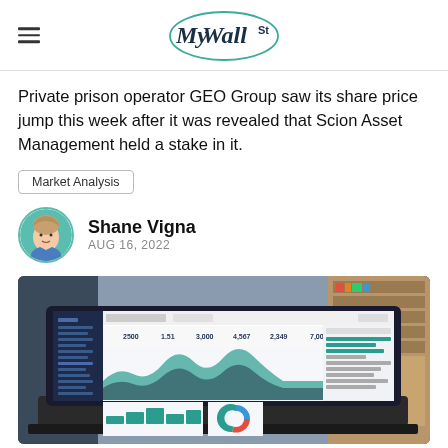MyWallSt
Private prison operator GEO Group saw its share price jump this week after it was revealed that Scion Asset Management held a stake in it.
Market Analysis
Shane Vigna
AUG 16, 2022
[Figure (photo): Laptop displaying a financial analytics dashboard with area charts, bar charts and a donut chart, placed on a desk with a bookshelf in the background.]